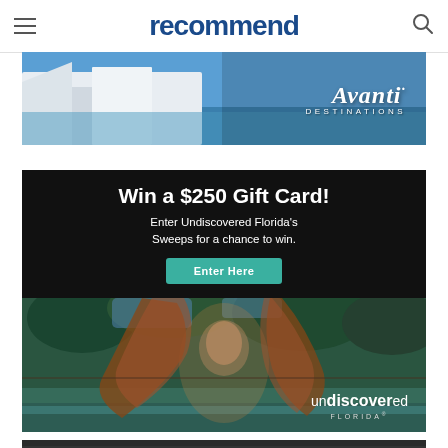recommend
[Figure (photo): Avanti Destinations advertisement banner showing a Mediterranean-style white building/pool scene with the Avanti Destinations logo in italic script]
[Figure (photo): Undiscovered Florida advertisement with dark upper section reading 'Win a $250 Gift Card! Enter Undiscovered Florida's Sweeps for a chance to win.' with Enter Here button, and lower photo section showing a woman with flowing reddish hair outdoors in a Florida nature setting, with the 'undiscovered FLORIDA' logo at bottom right]
[Figure (photo): Partial view of a third advertisement banner at the bottom of the page]